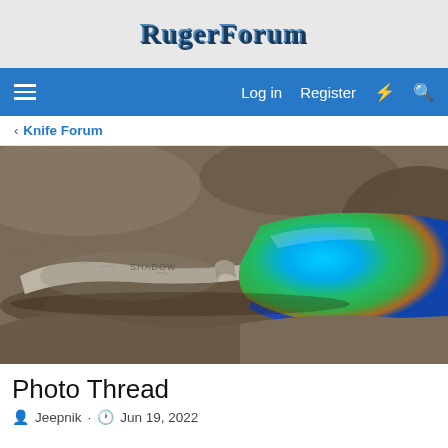RugerForum
Log in  Register
< Knife Forum
[Figure (photo): Close-up photo of a weathered metallic sunglasses frame resting on rough rocky surface. The lens shows vibrant blue, green, and teal iridescent colors. The frame appears heavily worn with a silver/pewter texture. Brand text 'SHADOW' is partially visible on the frame.]
Photo Thread
Jeepnik · Jun 19, 2022